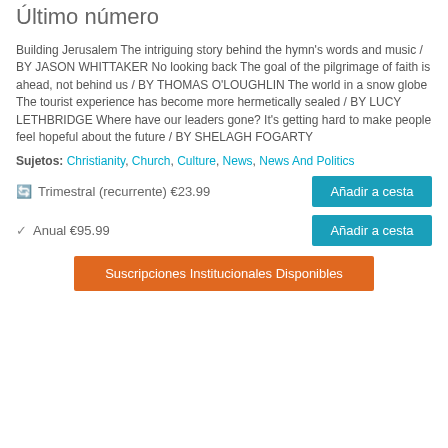Último número
Building Jerusalem The intriguing story behind the hymn's words and music / BY JASON WHITTAKER No looking back The goal of the pilgrimage of faith is ahead, not behind us / BY THOMAS O'LOUGHLIN The world in a snow globe The tourist experience has become more hermetically sealed / BY LUCY LETHBRIDGE Where have our leaders gone? It's getting hard to make people feel hopeful about the future / BY SHELAGH FOGARTY
Sujetos: Christianity, Church, Culture, News, News And Politics
🔄 Trimestral (recurrente) €23.99
✔ Anual €95.99
Suscripciones Institucionales Disponibles